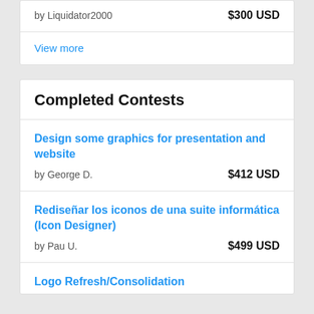by Liquidator2000   $300 USD
View more
Completed Contests
Design some graphics for presentation and website
by George D.   $412 USD
Rediseñar los iconos de una suite informática (Icon Designer)
by Pau U.   $499 USD
Logo Refresh/Consolidation